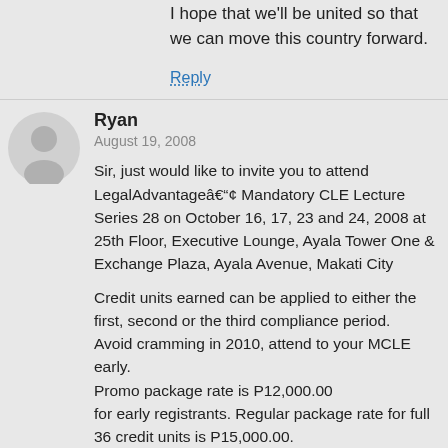I hope that we'll be united so that we can move this country forward.
Reply
Ryan
August 19, 2008
Sir, just would like to invite you to attend LegalAdvantageâ„¢ Mandatory CLE Lecture Series 28 on October 16, 17, 23 and 24, 2008 at 25th Floor, Executive Lounge, Ayala Tower One & Exchange Plaza, Ayala Avenue, Makati City
Credit units earned can be applied to either the first, second or the third compliance period.
Avoid cramming in 2010, attend to your MCLE early.
Promo package rate is P12,000.00
for early registrants. Regular package rate for full 36 credit units is P15,000.00.
Deadline of early registration is on August 29, 2008.
Fee is inclusive of buffet breakfast and lunch, afternoon snacks, seminar kit and handouts,